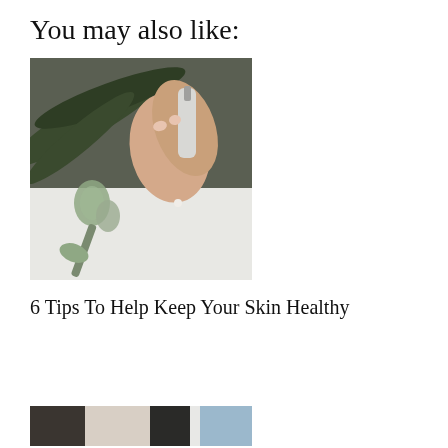You may also like:
[Figure (photo): Hands holding a skincare serum dropper over a wrist, with jade roller and face roller tools on a white cloth and gray background with palm leaves]
6 Tips To Help Keep Your Skin Healthy
[Figure (photo): Partial view of a second related article image, cropped at bottom of page]